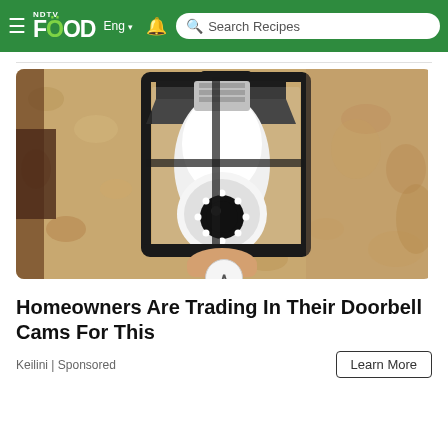NDTV FOOD Eng Search Recipes
[Figure (photo): A security camera shaped like a light bulb installed in a black metal outdoor lantern fixture mounted on a textured beige stucco wall. The camera has a round lens with LED lights around it.]
Homeowners Are Trading In Their Doorbell Cams For This
Keilini | Sponsored
Learn More